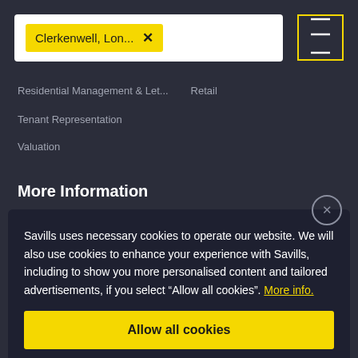[Figure (screenshot): Search bar with 'Clerkenwell, Lon...' tag in yellow and X button, plus filter icon button with yellow border on right]
Residential Management & Let...
Retail
Tenant Representation
Valuation
More Information
Savills uses necessary cookies to operate our website. We will also use cookies to enhance your experience with Savills, including to show you more personalised content and tailored advertisements, if you select “Allow all cookies”. More info.
Allow all cookies